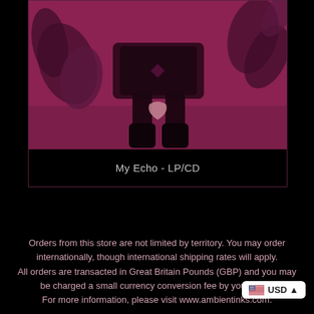[Figure (photo): Album cover for My Echo LP/CD showing a person seated with hands forming a heart shape, with plant foliage in background, in a pink/magenta duotone color scheme. Displayed inside a bordered card.]
My Echo - LP/CD
Orders from this store are not limited by territory. You may order internationally, though international shipping rates will apply. All orders are transacted in Great Britain Pounds (GBP) and you may be charged a small currency conversion fee by your bank. For more information, please visit www.ambientinks.com.